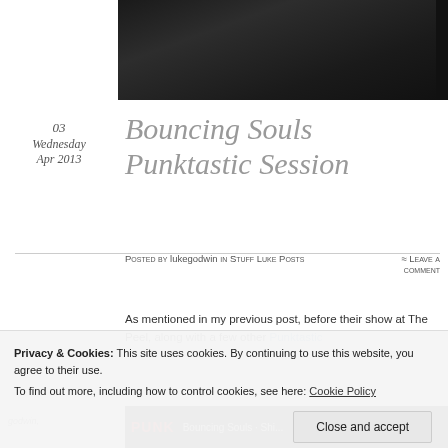[Figure (photo): Dark photograph partially visible at the top of the page, appears to be a concert or indoor scene with dark background]
03
Wednesday
Apr 2013
Bouncing Souls Punktastic Session
Posted by lukegodwin in Stuff Luke Posts ≈ Leave a comment
As mentioned in my previous post, before their show at The Peel, along with a few other Punktastic
Privacy & Cookies: This site uses cookies. By continuing to use this website, you agree to their use.
To find out more, including how to control cookies, see here: Cookie Policy
Close and accept
godwin,
[Figure (screenshot): Bottom strip showing Punktastic logo and Bouncing Souls text in dark background]